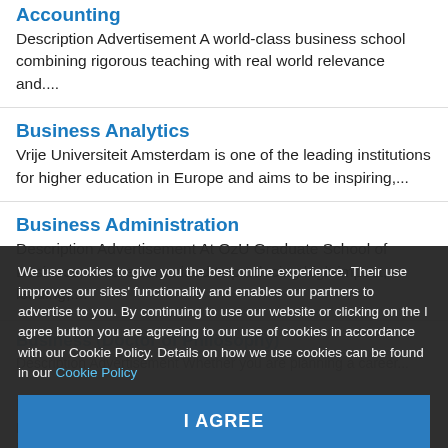Accounting
Description Advertisement A world-class business school combining rigorous teaching with real world relevance and....
Business Analytics
Vrije Universiteit Amsterdam is one of the leading institutions for higher education in Europe and aims to be inspiring,...
Business Administration
Description Advertisement At OzU Graduate School of Business, we are committed to producing high impact, leading,....
Business (Doctor of Philosophy)
Description Advertisement Whether you are planning a career...
International Business...
Description Advertisement...ional is a dual degree in collabora... Netherlands,...
We use cookies to give you the best online experience. Their use improves our sites' functionality and enables our partners to advertise to you. By continuing to use our website or clicking on the I agree button you are agreeing to our use of cookies in accordance with our Cookie Policy. Details on how we use cookies can be found in our Cookie Policy
I AGREE